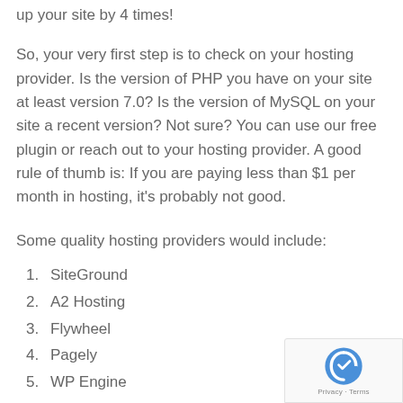up your site by 4 times!
So, your very first step is to check on your hosting provider. Is the version of PHP you have on your site at least version 7.0? Is the version of MySQL on your site a recent version? Not sure? You can use our free plugin or reach out to your hosting provider. A good rule of thumb is: If you are paying less than $1 per month in hosting, it's probably not good.
Some quality hosting providers would include:
SiteGround
A2 Hosting
Flywheel
Pagely
WP Engine